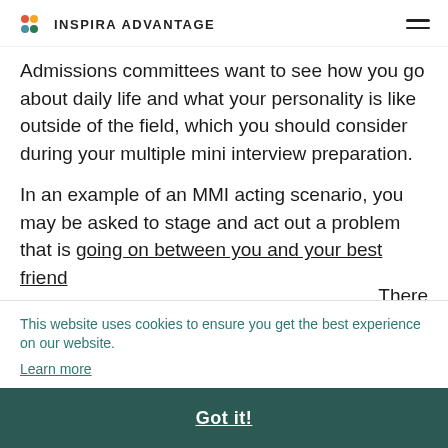INSPIRA ADVANTAGE
Admissions committees want to see how you go about daily life and what your personality is like outside of the field, which you should consider during your multiple mini interview preparation.
In an example of an MMI acting scenario, you may be asked to stage and act out a problem that is going on between you and your best friend. There [is a cookie overlay here] The [overlay] e at
This website uses cookies to ensure you get the best experience on our website.
Learn more
uation en
Got it!